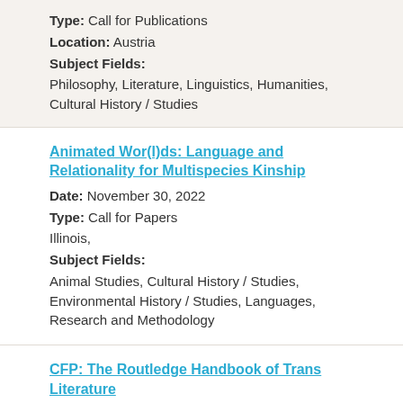Type: Call for Publications
Location: Austria
Subject Fields:
Philosophy, Literature, Linguistics, Humanities, Cultural History / Studies
Animated Wor(l)ds: Language and Relationality for Multispecies Kinship
Date: November 30, 2022
Type: Call for Papers
Illinois,
Subject Fields:
Animal Studies, Cultural History / Studies, Environmental History / Studies, Languages, Research and Methodology
CFP: The Routledge Handbook of Trans Literature
Date: September 1, 2022
Type: Call for Papers
Subject Fields:
Literature, Women's & Gender History / Studies, Sexuality Studies, Humanities, Philosophy